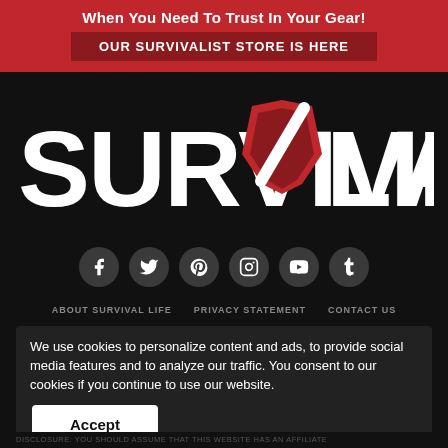When You Need To Trust In Your Gear!
OUR SURVIVALIST STORE IS HERE
[Figure (logo): Survival Life logo in large white bold text on black background, with a red shield emblem containing a white slash between the words SURVIVAL and LIFE]
[Figure (infographic): Social media icons row: Facebook, Twitter, Pinterest, Instagram, YouTube, Tumblr — white icons on dark grey circular backgrounds]
ABOUT SURVIVAL LIFE   PRIVACY STATEMENT   CONTACT US
We use cookies to personalize content and ads, to provide social media features and to analyze our traffic. You consent to our cookies if you continue to use our website.
Accept
DISCLOSURE: You should assume that this website has an affiliate